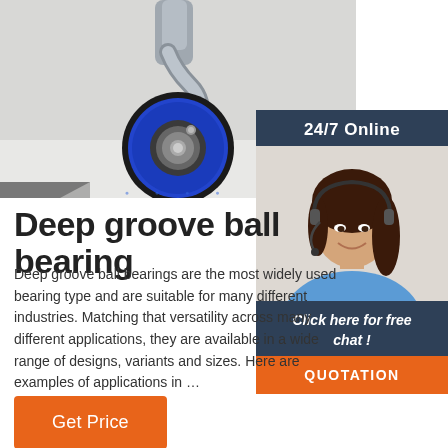[Figure (photo): Close-up photo of a blue rubber caster wheel with metal swivel bracket on a white surface]
[Figure (photo): Customer service agent (woman with headset) with 24/7 Online banner, Click here for free chat, and QUOTATION button]
Deep groove ball bearing
Deep groove ball bearings are the most widely used bearing type and are suitable for many different industries. Matching that versatility across many different applications, they are available in a wide range of designs, variants and sizes. Here are examples of applications in …
Get Price